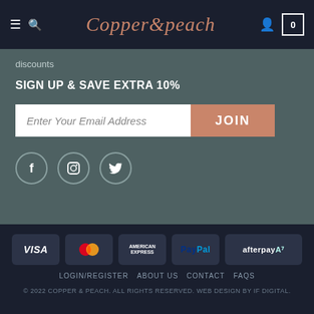Copper & Peach — navigation header with hamburger, search, logo, user icon, and cart (0)
discounts
SIGN UP & SAVE EXTRA 10%
Enter Your Email Address [JOIN button]
[Figure (infographic): Social media icons: Facebook, Instagram, Twitter in circular borders]
[Figure (infographic): Payment method badges: VISA, MasterCard, American Express, PayPal, afterpay]
LOGIN/REGISTER   ABOUT US   CONTACT   FAQS
© 2022 COPPER & PEACH. ALL RIGHTS RESERVED. WEB DESIGN BY IF DIGITAL.